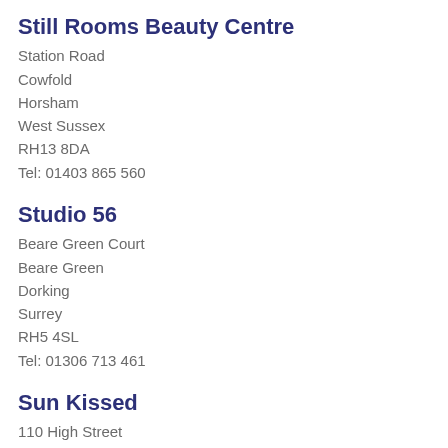Still Rooms Beauty Centre
Station Road
Cowfold
Horsham
West Sussex
RH13 8DA
Tel: 01403 865 560
Studio 56
Beare Green Court
Beare Green
Dorking
Surrey
RH5 4SL
Tel: 01306 713 461
Sun Kissed
110 High Street
Hurstpierpoint